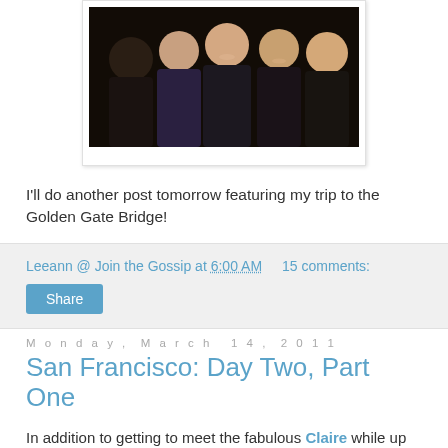[Figure (photo): Group photo of several young people in a dark setting]
I'll do another post tomorrow featuring my trip to the Golden Gate Bridge!
Leeann @ Join the Gossip at 6:00 AM    15 comments:
Share
Monday, March 14, 2011
San Francisco: Day Two, Part One
In addition to getting to meet the fabulous Claire while up north (see post below for more details), I also had an incredible time exploring San Francisco! Although I am only an hour plane ride from SF, this was only my third time